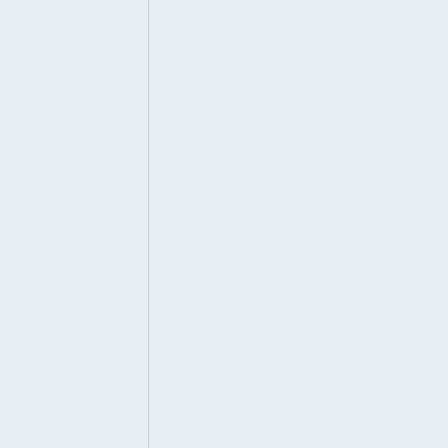outgoing connection deathbycaptcha, I think we have a couple of post with the same issue on the foru